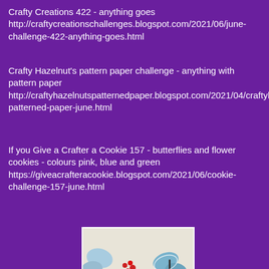Crafty Creations 422 - anything goes
http://craftycreationschallenges.blogspot.com/2021/06/june-challenge-422-anything-goes.html
Crafty Hazelnut's pattern paper challenge - anything with pattern paper
http://craftyhazelnutspatternedpaper.blogspot.com/2021/04/craftyhazelnuts-patterned-paper-june.html
If you Give a Crafter a Cookie 157 - butterflies and flower cookies - colours pink, blue and green
https://giveacrafteracookie.blogspot.com/2021/06/cookie-challenge-157-june.html
[Figure (photo): Close-up photo of decorated sugar cookies shaped as butterflies and flowers, with green leaves, red berries, red and white butterfly cookie in foreground, blue and green butterfly cookies in background, on light background.]